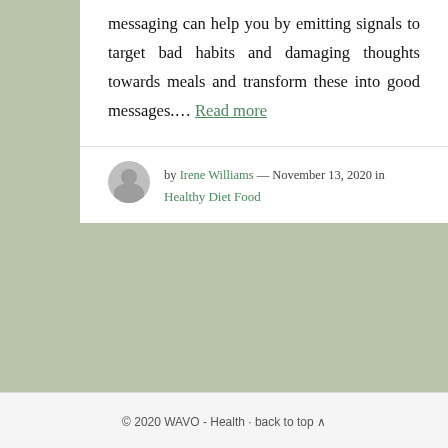messaging can help you by emitting signals to target bad habits and damaging thoughts towards meals and transform these into good messages…. Read more
by Irene Williams — November 13, 2020 in Healthy Diet Food
© 2020 WAVO - Health · back to top ^